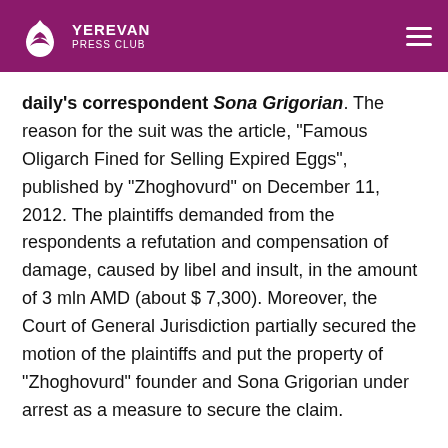Yerevan Press Club
daily's correspondent Sona Grigorian. The reason for the suit was the article, “Famous Oligarch Fined for Selling Expired Eggs”, published by “Zhoghovurd” on December 11, 2012. The plaintiffs demanded from the respondents a refutation and compensation of damage, caused by libel and insult, in the amount of 3 mln AMD (about $ 7,300). Moreover, the Court of General Jurisdiction partially secured the motion of the plaintiffs and put the property of “Zhoghovurd” founder and Sona Grigorian under arrest as a measure to secure the claim.
On January 29, the RA Judicial Department provided on its website “Explanation: Allegations about Impeding Operation of “Zhoghovurd” Daily Are Unfounded”. The explanation particularly stressed that the motion on the injunction made by Khachik Khachatrian and “Yerevan